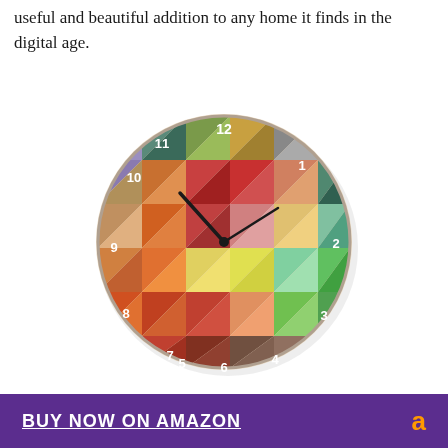useful and beautiful addition to any home it finds in the digital age.
[Figure (photo): A colorful geometric wall clock with a mosaic pattern of triangles in various colors (orange, red, blue, green, purple, yellow, pink). The clock face shows numbers 1-12 in white, with black hour and minute hands. The clock has a circular shape and is photographed against a white/light gray background.]
BUY NOW ON AMAZON